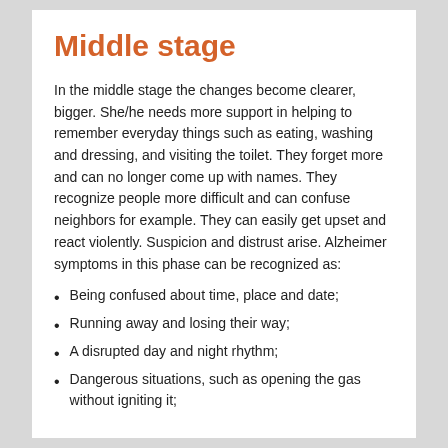Middle stage
In the middle stage the changes become clearer, bigger. She/he needs more support in helping to remember everyday things such as eating, washing and dressing, and visiting the toilet. They forget more and can no longer come up with names. They recognize people more difficult and can confuse neighbors for example. They can easily get upset and react violently. Suspicion and distrust arise. Alzheimer symptoms in this phase can be recognized as:
Being confused about time, place and date;
Running away and losing their way;
A disrupted day and night rhythm;
Dangerous situations, such as opening the gas without igniting it;